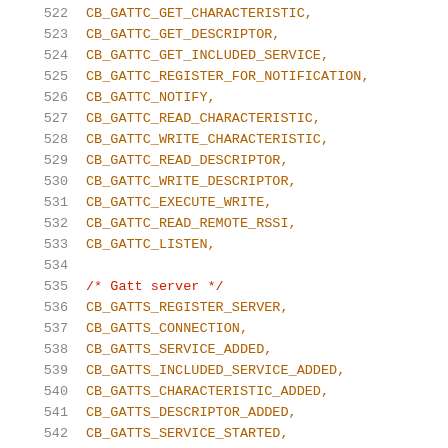522  CB_GATTC_GET_CHARACTERISTIC,
523  CB_GATTC_GET_DESCRIPTOR,
524  CB_GATTC_GET_INCLUDED_SERVICE,
525  CB_GATTC_REGISTER_FOR_NOTIFICATION,
526  CB_GATTC_NOTIFY,
527  CB_GATTC_READ_CHARACTERISTIC,
528  CB_GATTC_WRITE_CHARACTERISTIC,
529  CB_GATTC_READ_DESCRIPTOR,
530  CB_GATTC_WRITE_DESCRIPTOR,
531  CB_GATTC_EXECUTE_WRITE,
532  CB_GATTC_READ_REMOTE_RSSI,
533  CB_GATTC_LISTEN,
534
535  /* Gatt server */
536  CB_GATTS_REGISTER_SERVER,
537  CB_GATTS_CONNECTION,
538  CB_GATTS_SERVICE_ADDED,
539  CB_GATTS_INCLUDED_SERVICE_ADDED,
540  CB_GATTS_CHARACTERISTIC_ADDED,
541  CB_GATTS_DESCRIPTOR_ADDED,
542  CB_GATTS_SERVICE_STARTED,
543  CB_GATTS_SERVICE_STOPPED,